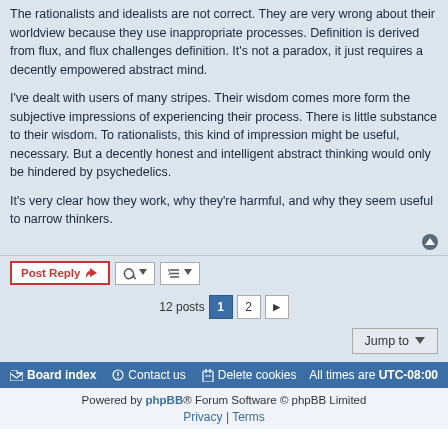The rationalists and idealists are not correct. They are very wrong about their worldview because they use inappropriate processes. Definition is derived from flux, and flux challenges definition. It's not a paradox, it just requires a decently empowered abstract mind.
I've dealt with users of many stripes. Their wisdom comes more form the subjective impressions of experiencing their process. There is little substance to their wisdom. To rationalists, this kind of impression might be useful, necessary. But a decently honest and intelligent abstract thinking would only be hindered by psychedelics.
It's very clear how they work, why they're harmful, and why they seem useful to narrow thinkers.
Board index | Contact us | Delete cookies | All times are UTC-08:00
Powered by phpBB® Forum Software © phpBB Limited
Privacy | Terms